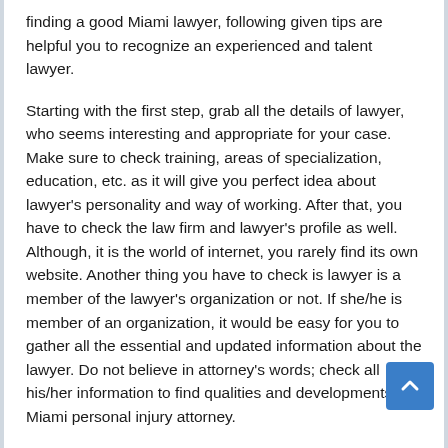finding a good Miami lawyer, following given tips are helpful you to recognize an experienced and talent lawyer.
Starting with the first step, grab all the details of lawyer, who seems interesting and appropriate for your case. Make sure to check training, areas of specialization, education, etc. as it will give you perfect idea about lawyer's personality and way of working. After that, you have to check the law firm and lawyer's profile as well. Although, it is the world of internet, you rarely find its own website. Another thing you have to check is lawyer is a member of the lawyer's organization or not. If she/he is member of an organization, it would be easy for you to gather all the essential and updated information about the lawyer. Do not believe in attorney's words; check all his/her information to find qualities and developments of Miami personal injury attorney.
One more thing, you can do is take refer from other field attorney. I will assure you he will give you best recommendation, looking at your requirements. Considering